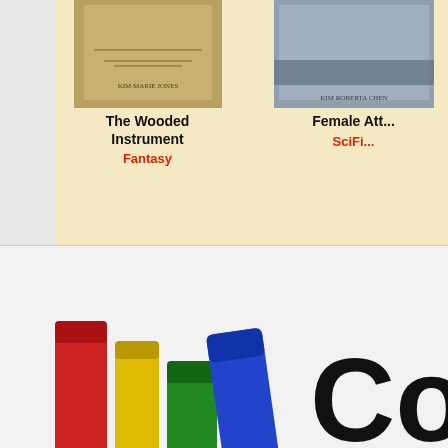[Figure (illustration): Book cover thumbnail for 'The Wooded Instrument']
The Wooded Instrument
Fantasy
[Figure (illustration): Book cover thumbnail for 'Female Att...' (partially visible)]
Female Att...
SciFi...
[Figure (logo): Coloring Books logo with colorful stacked books icon and text 'Coloring B... Download . Print...']
Animals and Pets | Autobiograp... Crime and Mystery | Environment and Nature | Fan Fictio... How to | Humor | Paranormal | Plays... Sports | Suspense and Thriller | T...